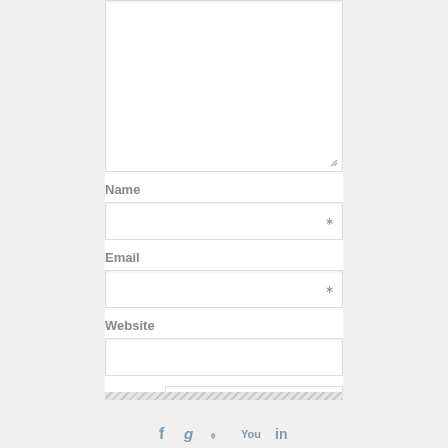[Figure (screenshot): Comment form section showing a textarea (partially visible at top), followed by Name, Email, and Website input fields, each with a label above. Name and Email fields have a required asterisk (*) on the right side. A 'Post Comment' button appears at the bottom right of the form. Below the form is a footer area with a diagonal stripe pattern divider and social media icons (Facebook, Google+, Twitter, YouTube, LinkedIn).]
Name
Email
Website
Post Comment